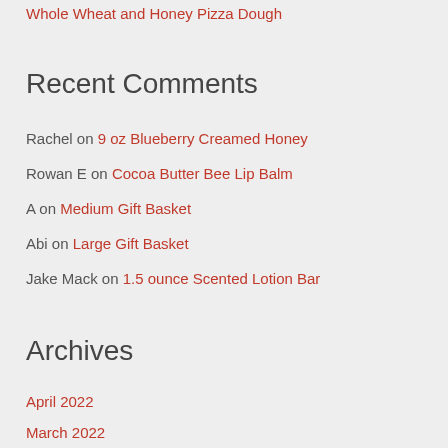Whole Wheat and Honey Pizza Dough
Recent Comments
Rachel on 9 oz Blueberry Creamed Honey
Rowan E on Cocoa Butter Bee Lip Balm
A on Medium Gift Basket
Abi on Large Gift Basket
Jake Mack on 1.5 ounce Scented Lotion Bar
Archives
April 2022
March 2022